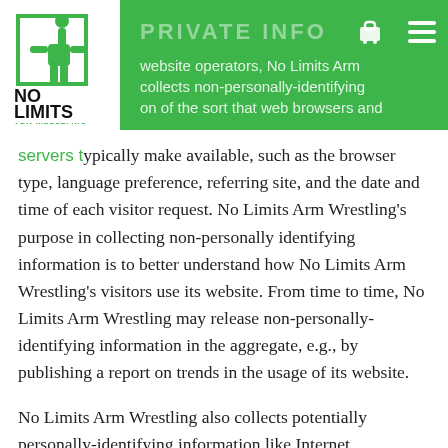[Figure (logo): No Limits Arm Wrestling logo - green figure with fist raised inside a square frame, text NO LIMITS ARM WRESTLING below]
website operators, No Limits Arm collects non-personally-identifying on of the sort that web browsers and servers typically make available, such as the
browser type, language preference, referring site, and the date and time of each visitor request. No Limits Arm Wrestling’s purpose in collecting non-personally identifying information is to better understand how No Limits Arm Wrestling’s visitors use its website. From time to time, No Limits Arm Wrestling may release non-personally-identifying information in the aggregate, e.g., by publishing a report on trends in the usage of its website.
No Limits Arm Wrestling also collects potentially personally-identifying information like Internet